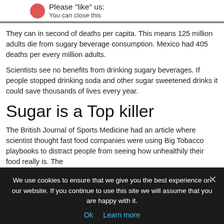Please "like" us: You can close this
They can in second of deaths per capita. This means 125 million adults die from sugary beverage consumption. Mexico had 405 deaths per every million adults.
Scientists see no benefits from drinking sugary beverages. If people stopped drinking soda and other sugar sweetened drinks it could save thousands of lives every year.
Sugar is a Top killer
The British Journal of Sports Medicine had an article where scientist thought fast food companies were using Big Tobacco playbooks to distract people from seeing how unhealthily their food really is. The
We use cookies to ensure that we give you the best experience on our website. If you continue to use this site we will assume that you are happy with it. Ok Learn more